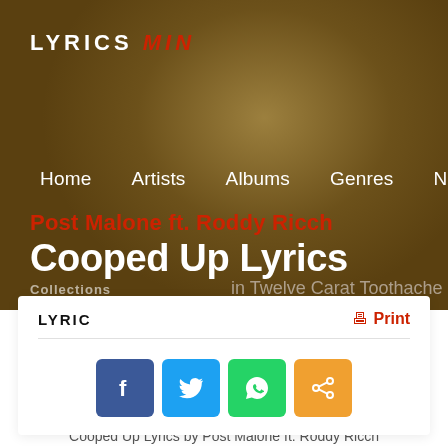LYRICS MIN
Home   Artists   Albums   Genres   News
Post Malone ft. Roddy Ricch
Cooped Up Lyrics
Collections   in Twelve Carat Toothache
LYRIC
Print
[Figure (infographic): Social share buttons: Facebook (blue), Twitter (light blue), WhatsApp (green), Share (orange)]
Cooped Up Lyrics by Post Malone ft. Roddy Ricch